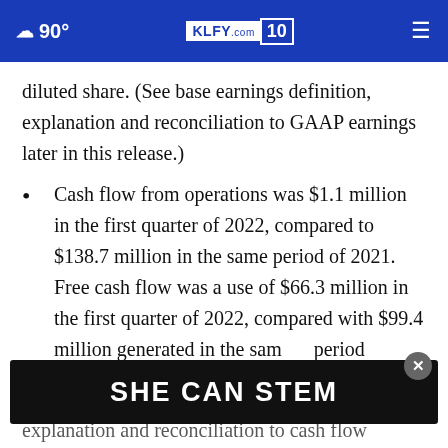90° KLFY.com 10
diluted share. (See base earnings definition, explanation and reconciliation to GAAP earnings later in this release.)
Cash flow from operations was $1.1 million in the first quarter of 2022, compared to $138.7 million in the same period of 2021. Free cash flow was a use of $66.3 million in the first quarter of 2022, compared with $99.4 million generated in the same period
[Figure (screenshot): SHE CAN STEM advertisement banner (dark background, white bold text), with a close button overlay]
explanation and reconciliation to cash flow